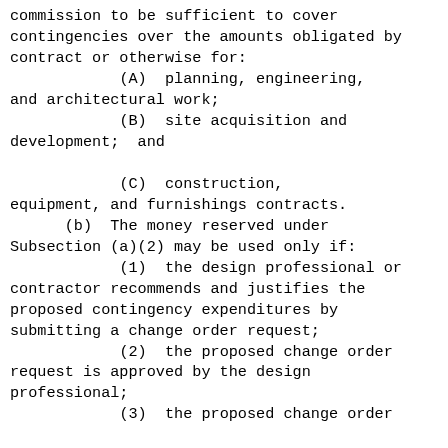commission to be sufficient to cover contingencies over the amounts obligated by contract or otherwise for:
            (A)  planning, engineering, and architectural work;
            (B)  site acquisition and development;  and

            (C)  construction, equipment, and furnishings contracts.
      (b)  The money reserved under Subsection (a)(2) may be used only if:
            (1)  the design professional or contractor recommends and justifies the proposed contingency expenditures by submitting a change order request;
            (2)  the proposed change order request is approved by the design professional;
            (3)  the proposed change order